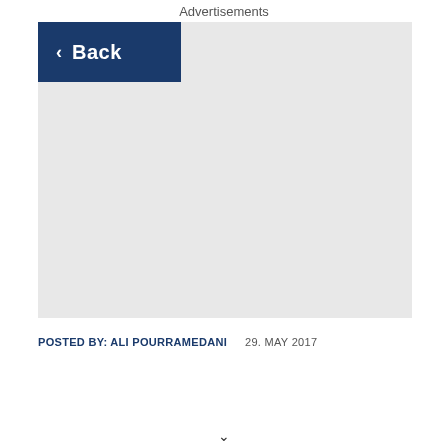Advertisements
[Figure (other): Dark navy blue Back button with left chevron arrow and ad placeholder area (light gray rectangle)]
POSTED BY: ALI POURRAMEDANI   29. MAY 2017